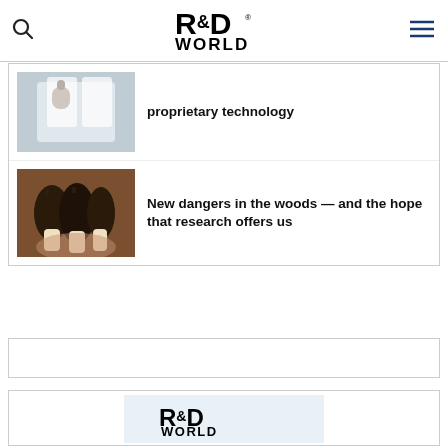R&D World
[Figure (photo): Person in white lab coat and protective gear]
proprietary technology
[Figure (photo): Morel mushrooms held in a hand]
New dangers in the woods — and the hope that research offers us
[Figure (other): Advertisement box empty]
[Figure (other): Advertisement with R&D World logo]